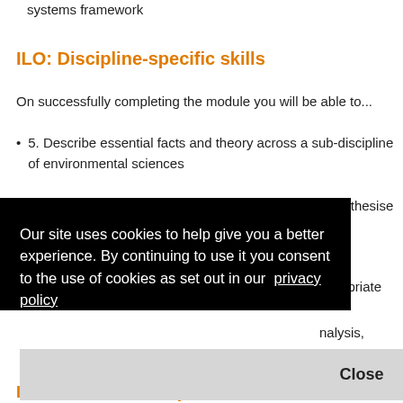systems framework
ILO: Discipline-specific skills
On successfully completing the module you will be able to...
5. Describe essential facts and theory across a sub-discipline of environmental sciences
6. Identify critical questions from the literature and synthesise research-informed examples into written work
7. Identify and implement, with some guidance, appropriate
Our site uses cookies to help give you a better experience. By continuing to use it you consent to the use of cookies as set out in our  privacy policy
Close
nalysis, ntal
nce to
ILO: Personal and key skills